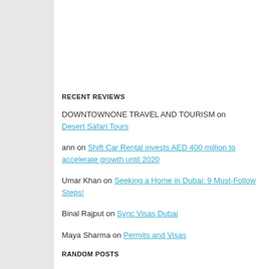RECENT REVIEWS
DOWNTOWNONE TRAVEL AND TOURISM on Desert Safari Tours
ann on Shift Car Rental invests AED 400 million to accelerate growth until 2020
Umar Khan on Seeking a Home in Dubai: 9 Must-Follow Steps!
Binal Rajput on Sync Visas Dubai
Maya Sharma on Permits and Visas
RANDOM POSTS